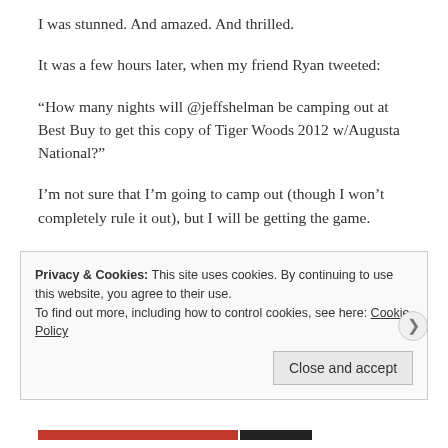I was stunned. And amazed. And thrilled.
It was a few hours later, when my friend Ryan tweeted:
“How many nights will @jeffshelman be camping out at Best Buy to get this copy of Tiger Woods 2012 w/Augusta National?”
I’m not sure that I’m going to camp out (though I won’t completely rule it out), but I will be getting the game.
I realize that I’m closing in on 40. But I am awfully excited about this development. Probably too excited.
Privacy & Cookies: This site uses cookies. By continuing to use this website, you agree to their use.
To find out more, including how to control cookies, see here: Cookie Policy
Close and accept